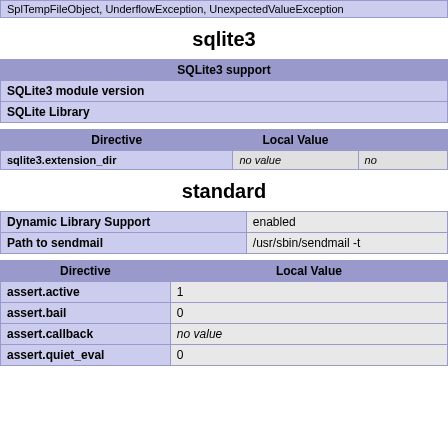| SplTempFileObject, UnderflowException, UnexpectedValueException |
sqlite3
| SQLite3 support |
| --- |
| SQLite3 module version |  |
| SQLite Library |  |
| Directive | Local Value |
| --- | --- |
| sqlite3.extension_dir | no value |
standard
| Dynamic Library Support | enabled |
| Path to sendmail | /usr/sbin/sendmail -t |
| Directive | Local Value |
| --- | --- |
| assert.active | 1 |
| assert.bail | 0 |
| assert.callback | no value |
| assert.quiet_eval | 0 |